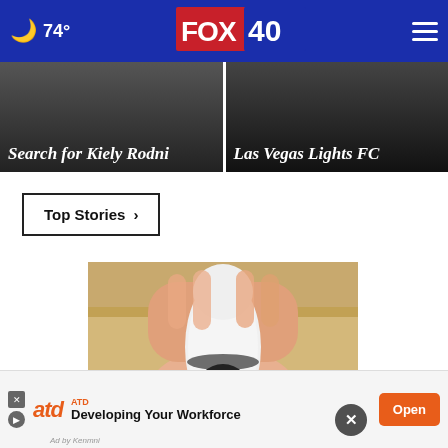🌙 74° | FOX 40
[Figure (screenshot): FOX 40 news website header with moon icon, 74° temperature, FOX40 logo, and hamburger menu]
Search for Kiely Rodni
Las Vegas Lights FC
Top Stories ›
[Figure (photo): A hand holding a white security camera device with LED ring, viewed from bottom angle]
[Figure (screenshot): ATD advertisement banner - Developing Your Workforce with Open button]